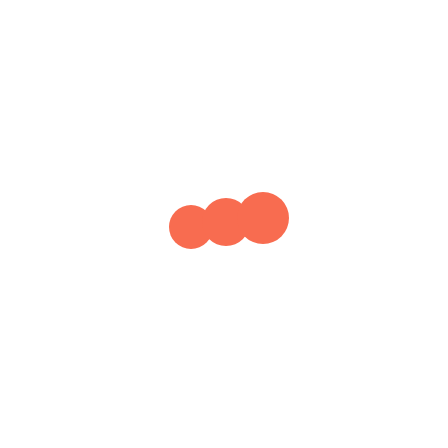[Figure (illustration): Three salmon/coral-colored circles of slightly varying sizes arranged horizontally near the center of an otherwise blank white page, resembling a loading indicator.]